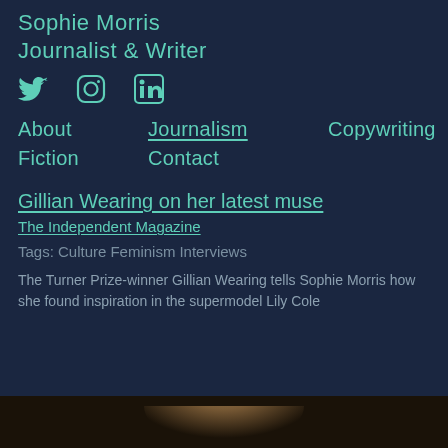Sophie Morris
Journalist & Writer
[Figure (infographic): Social media icons: Twitter bird, Instagram camera, LinkedIn square logo]
About   Journalism   Copywriting   Fiction   Contact
Gillian Wearing on her latest muse
The Independent Magazine
Tags: Culture   Feminism   Interviews
The Turner Prize-winner Gillian Wearing tells Sophie Morris how she found inspiration in the supermodel Lily Cole
[Figure (photo): Partial photo visible at bottom of page, dark toned portrait]